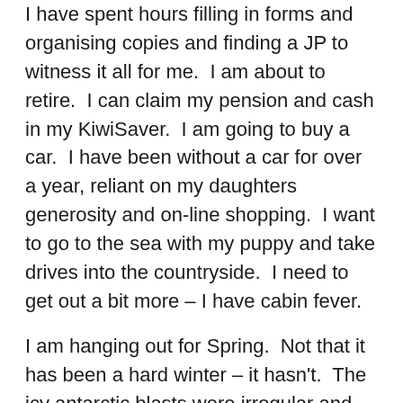I have spent hours filling in forms and organising copies and finding a JP to witness it all for me.  I am about to retire.  I can claim my pension and cash in my KiwiSaver.  I am going to buy a car.  I have been without a car for over a year, reliant on my daughters generosity and on-line shopping.  I want to go to the sea with my puppy and take drives into the countryside.  I need to get out a bit more – I have cabin fever.
I am hanging out for Spring.  Not that it has been a hard winter – it hasn't.  The icy antarctic blasts were irregular and interspersed with surprisingly balmy days.  Daffodils are out already, some trees are flowering and some are budding.  I'm hanging out for September to start because then I step out of my pre-birthday blues and return to my usual self.  My girls and I will spend a week together and kick start my new year off in fine fashion.  I'm looking